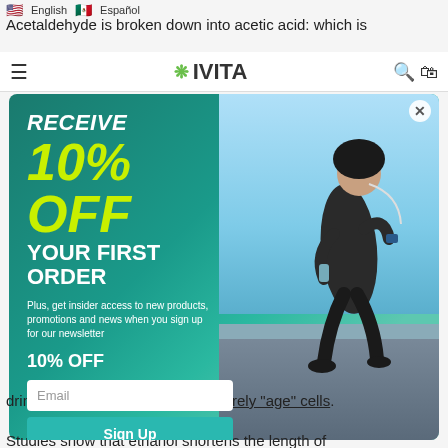English | Español
Acetaldehyde is broken down into acetic acid: which is
[Figure (screenshot): IVITA website header with hamburger menu, logo, search and cart icons]
[Figure (infographic): Modal popup with promotional offer: RECEIVE 10% OFF YOUR FIRST ORDER. Plus, get insider access to new products, promotions and news when you sign up for our newsletter. 10% OFF. Email input field and Sign Up button. Background shows a man running outdoors.]
drinking this damage can prematurely "age" cells.
Studies show that ethanol shortens the length of